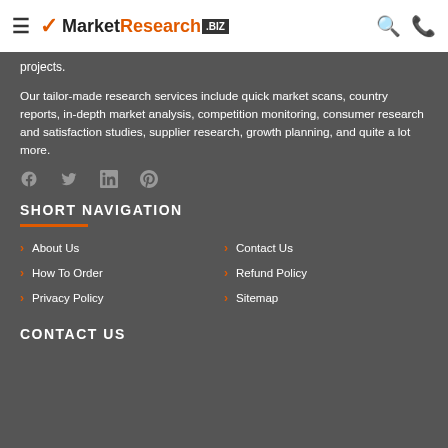MarketResearch.biz
projects.
Our tailor-made research services include quick market scans, country reports, in-depth market analysis, competition monitoring, consumer research and satisfaction studies, supplier research, growth planning, and quite a lot more.
[Figure (infographic): Social media icons: Facebook, Twitter, LinkedIn, Pinterest in gray]
SHORT NAVIGATION
About Us
How To Order
Privacy Policy
Contact Us
Refund Policy
Sitemap
CONTACT US